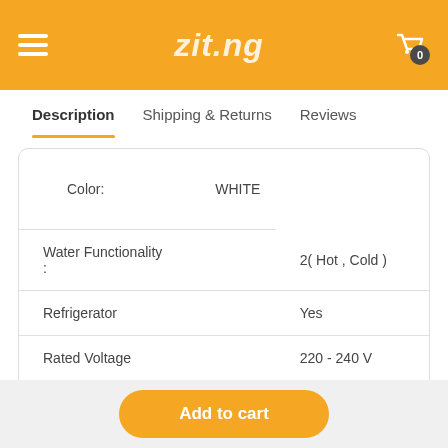zit.ng
Description | Shipping & Returns | Reviews
| Property | Value |
| --- | --- |
| Color: | WHITE |
| Water Functionality : | 2( Hot , Cold ) |
| Refrigerator | Yes |
| Rated Voltage | 220 - 240 V |
| Rated Power | 520 W |
| Heating Power | 420 W |
Add to cart